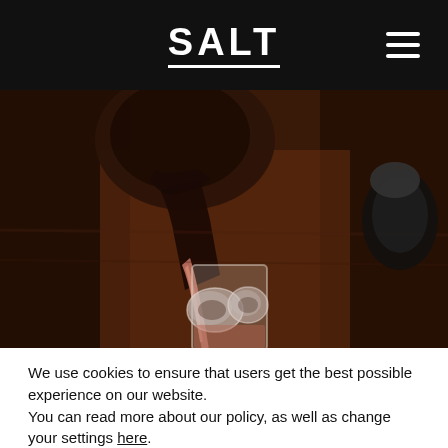SALT
[Figure (photo): A dark whiskey or cocktail being poured from a bottle into a glass of ice cubes, on a wooden surface. The liquid is pinkish-brown and streams into the glass.]
We use cookies to ensure that users get the best possible experience on our website.
You can read more about our policy, as well as change your settings here.
Accept